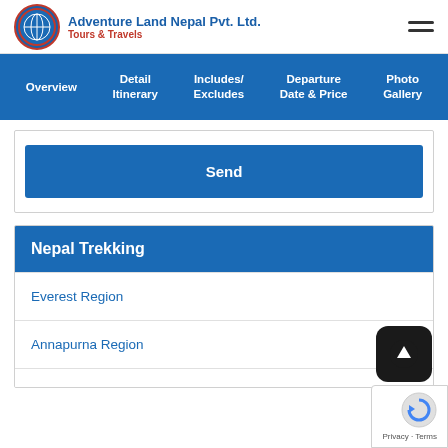Adventure Land Nepal Pvt. Ltd. Tours & Travels
Overview | Detail Itinerary | Includes/ Excludes | Departure Date & Price | Photo Gallery
Send
Nepal Trekking
Everest Region
Annapurna Region